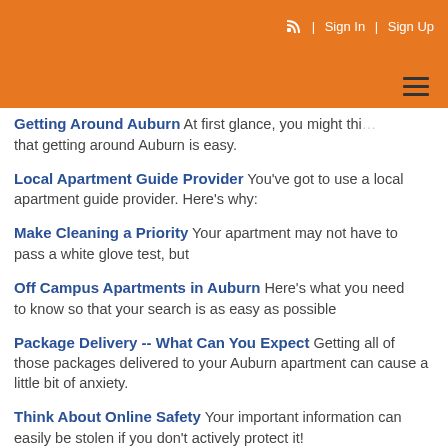RSS | Sign In | Sign Up
Getting Around Auburn At first glance, you might think that getting around Auburn is easy.
Local Apartment Guide Provider You've got to use a local apartment guide provider. Here's why:
Make Cleaning a Priority Your apartment may not have to pass a white glove test, but
Off Campus Apartments in Auburn Here's what you need to know so that your search is as easy as possible
Package Delivery -- What Can You Expect Getting all of those packages delivered to your Auburn apartment can cause a little bit of anxiety.
Think About Online Safety Your important information can easily be stolen if you don't actively protect it!
While Looking for your Auburn Apartment. Maybe you're moving to town and you haven't found an apartment yet.